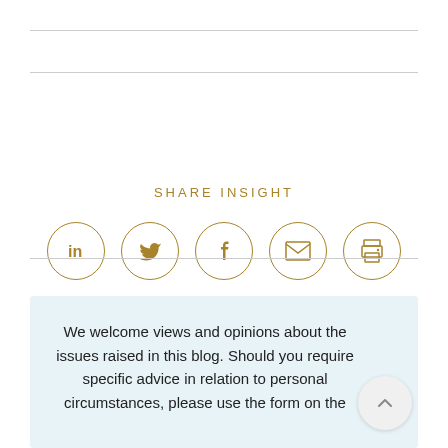[Figure (infographic): SHARE INSIGHT section with five social sharing icon circles: LinkedIn, Twitter, Facebook, Email, Print]
We welcome views and opinions about the issues raised in this blog. Should you require specific advice in relation to personal circumstances, please use the form on the